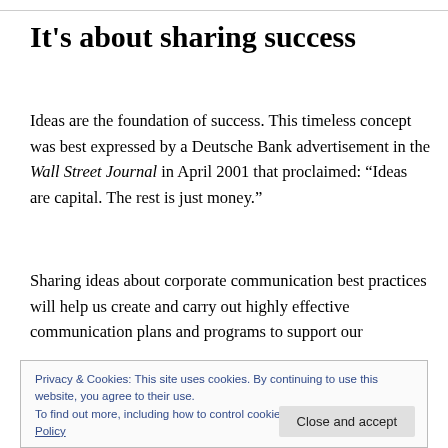It’s about sharing success
Ideas are the foundation of success. This timeless concept was best expressed by a Deutsche Bank advertisement in the Wall Street Journal in April 2001 that proclaimed: “Ideas are capital. The rest is just money.”
Sharing ideas about corporate communication best practices will help us create and carry out highly effective communication plans and programs to support our
Privacy & Cookies: This site uses cookies. By continuing to use this website, you agree to their use.
To find out more, including how to control cookies, see here: Cookie Policy
As Van Gogh said, “Great things are not done by impulse